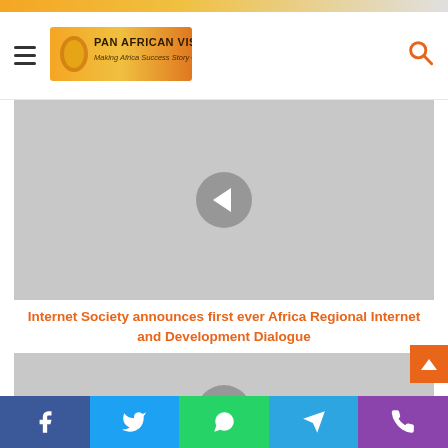Pan African Visions - Making Africa Success Story Ours
[Figure (photo): Gray placeholder image with left navigation chevron circle button in center]
Internet Society announces first ever Africa Regional Internet and Development Dialogue
[Figure (photo): Gray placeholder image with right navigation chevron circle button partially visible]
Social share bar: Facebook, Twitter, WhatsApp, Telegram, Phone